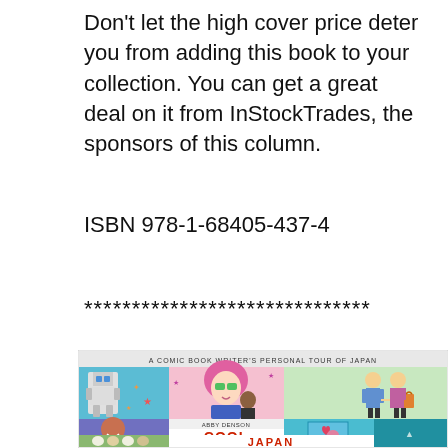Don't let the high cover price deter you from adding this book to your collection. You can get a great deal on it from InStockTrades, the sponsors of this column.
ISBN 978-1-68405-437-4
******************************
[Figure (photo): Book cover of 'Cool Japan: A Comic Book Writer's Personal Tour of Japan' by Abby Denson, showing manga-style illustrations including a robot, anime girl with pink hair, couple shopping, cats, and a book with a cat face.]